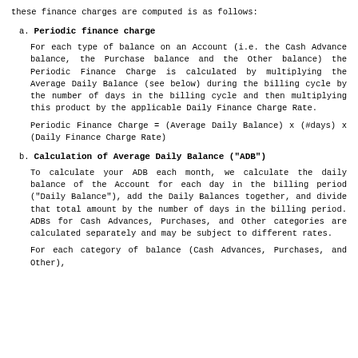these finance charges are computed is as follows:
a. Periodic finance charge
For each type of balance on an Account (i.e. the Cash Advance balance, the Purchase balance and the Other balance) the Periodic Finance Charge is calculated by multiplying the Average Daily Balance (see below) during the billing cycle by the number of days in the billing cycle and then multiplying this product by the applicable Daily Finance Charge Rate.
Periodic Finance Charge = (Average Daily Balance) x (#days) x (Daily Finance Charge Rate)
b. Calculation of Average Daily Balance ("ADB")
To calculate your ADB each month, we calculate the daily balance of the Account for each day in the billing period ("Daily Balance"), add the Daily Balances together, and divide that total amount by the number of days in the billing period. ADBs for Cash Advances, Purchases, and Other categories are calculated separately and may be subject to different rates.
For each category of balance (Cash Advances, Purchases, and Other),